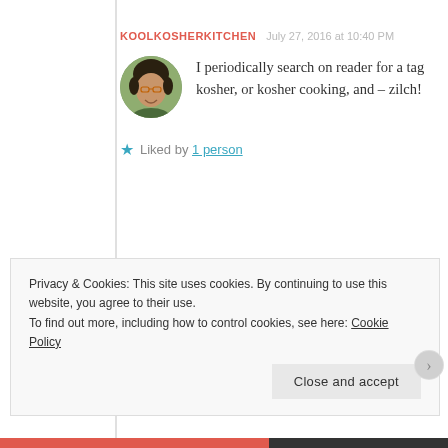KOOLKOSHERKITCHEN   July 27, 2016 at 10:40 PM
I periodically search on reader for a tag kosher, or kosher cooking, and – zilch!
★ Liked by 1 person
COOKING FOR THE TIME CHALLENGED
July 27, 2016 at 10:52 PM
Privacy & Cookies: This site uses cookies. By continuing to use this website, you agree to their use.
To find out more, including how to control cookies, see here: Cookie Policy
Close and accept